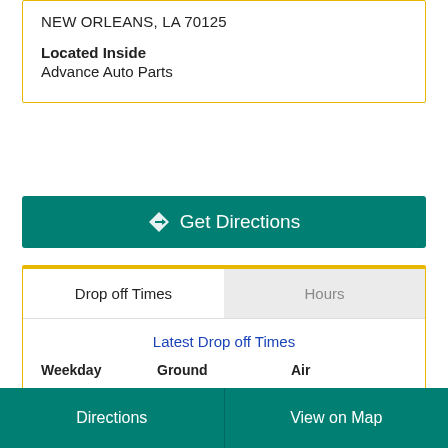NEW ORLEANS, LA 70125
Located Inside
Advance Auto Parts
Get Directions
| Weekday | Ground | Air |
| --- | --- | --- |
| Mon - Fri | 3:00 PM | 3:00 PM |
| Sat | 3:00 PM | 3:00 PM |
Directions    View on Map